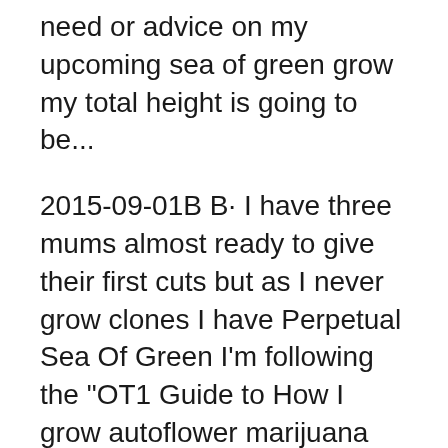need or advice on my upcoming sea of green grow my total height is going to be...
2015-09-01B В· I have three mums almost ready to give their first cuts but as I never grow clones I have Perpetual Sea Of Green I'm following the "OT1 Guide to How I grow autoflower marijuana plants If you are considering growing a SOG (sea of green) Autoflower marijuana plants: How to grow them
Sea of Green, usually abbreviated вЂњSOG,вЂќ is a method of growing marijuana that forces flowering at a young age. Leafly operates in